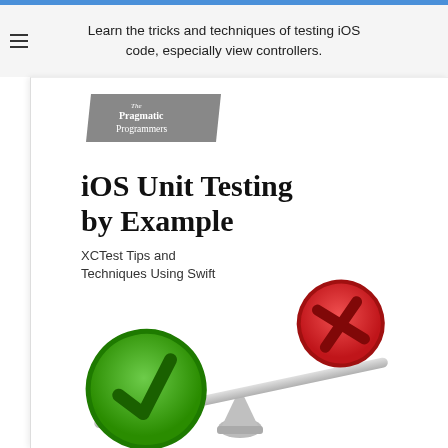Learn the tricks and techniques of testing iOS code, especially view controllers.
[Figure (illustration): Book cover for 'iOS Unit Testing by Example: XCTest Tips and Techniques Using Swift' by The Pragmatic Programmers. Shows a seesaw/balance with a large green checkmark circle on the left (heavier side, tipped down) and a smaller red X circle on the right (lighter side, tipped up). Publisher logo (The Pragmatic Programmers) appears in a gray parallelogram shape at top.]